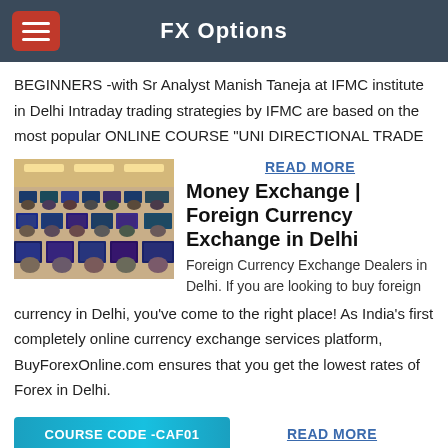FX Options
BEGINNERS -with Sr Analyst Manish Taneja at IFMC institute in Delhi Intraday trading strategies by IFMC are based on the most popular ONLINE COURSE "UNI DIRECTIONAL TRADE
[Figure (photo): Trading floor with multiple monitors and traders]
READ MORE
Money Exchange | Foreign Currency Exchange in Delhi
Foreign Currency Exchange Dealers in Delhi. If you are looking to buy foreign currency in Delhi, you've come to the right place! As India's first completely online currency exchange services platform, BuyForexOnline.com ensures that you get the lowest rates of Forex in Delhi.
[Figure (other): Course code banner: COURSE CODE -CAF01]
READ MORE